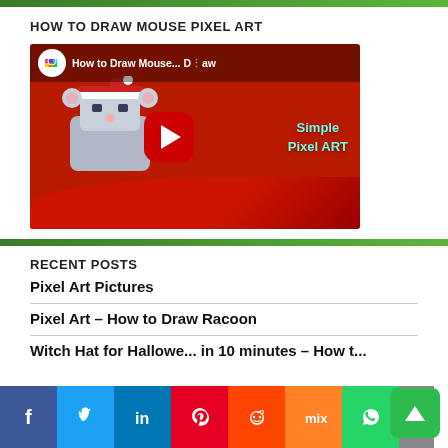HOW TO DRAW MOUSE PIXEL ART
[Figure (screenshot): YouTube video thumbnail for 'How to Draw Mouse... Draw Simple Pixel ART' with red background, pixel art mouse character, and YouTube play button]
RECENT POSTS
Pixel Art Pictures
Pixel Art – How to Draw Racoon
Witch Hat for Halloween in 10 minutes – How to...
[Figure (infographic): Social media share buttons bar: Facebook (dark blue), Twitter (light blue), LinkedIn (blue), Pinterest (red), Reddit (orange-red), Mix (orange), WhatsApp (green)]